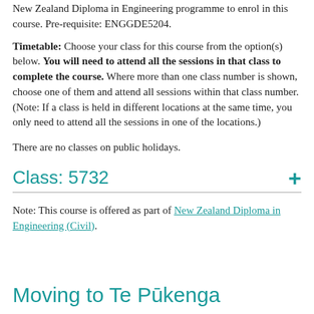New Zealand Diploma in Engineering programme to enrol in this course. Pre-requisite: ENGGDE5204.
Timetable: Choose your class for this course from the option(s) below. You will need to attend all the sessions in that class to complete the course. Where more than one class number is shown, choose one of them and attend all sessions within that class number. (Note: If a class is held in different locations at the same time, you only need to attend all the sessions in one of the locations.)
There are no classes on public holidays.
Class: 5732
Note: This course is offered as part of New Zealand Diploma in Engineering (Civil).
Moving to Te Pūkenga